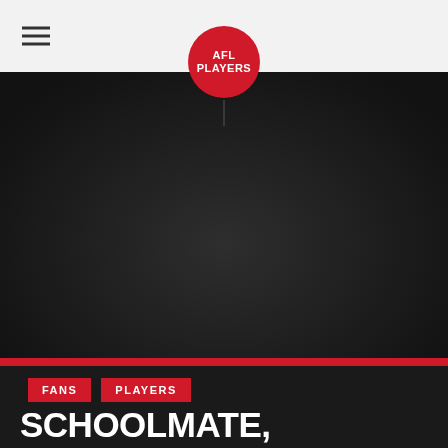AFL Players
[Figure (photo): Dark background hero image showing AFL player silhouette]
FANS
PLAYERS
SCHOOLMATE, TEAMMATE, OPPONENT HONOUR CYRIL